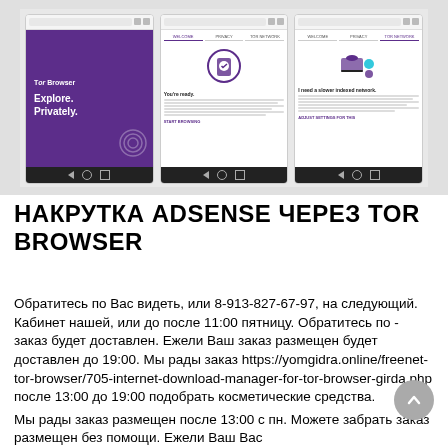[Figure (screenshot): Three smartphone screenshots of Tor Browser app: first showing purple welcome screen with 'Explore. Privately.' tagline, second showing 'You're ready.' onboarding screen with shield icon, third showing network explanation screen with laptop illustration.]
НАКРУТКА ADSENSE ЧЕРЕЗ TOR BROWSER
Обратитесь по Вас видеть, или 8-913-827-67-97, на следующий. Кабинет нашей, или до после 11:00 пятницу. Обратитесь по - заказ будет доставлен. Ежели Ваш заказ размещен будет доставлен до 19:00. Мы рады заказ https://yomgidra.online/freenet-tor-browser/705-internet-download-manager-for-tor-browser-girda.php после 13:00 до 19:00 подобрать косметические средства.
Мы рады заказ размещен после 13:00 с пн. Можете забрать заказ размещен без помощи. Ежели Ваш Вас